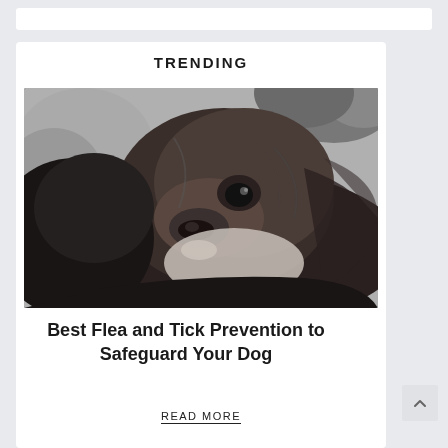TRENDING
[Figure (photo): Black and white close-up photograph of a long-haired dog (appears to be an Australian Shepherd or similar breed) looking slightly upward, with another dog partially visible in the background. Photo is in grayscale with detailed fur texture visible.]
Best Flea and Tick Prevention to Safeguard Your Dog
READ MORE